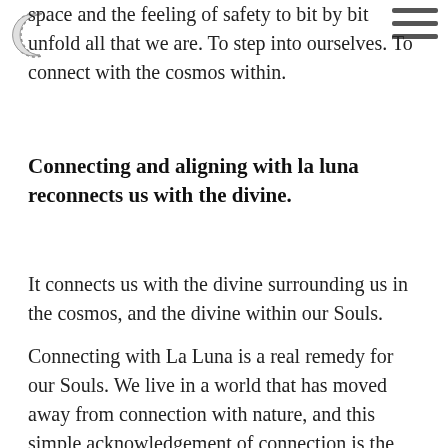[Figure (logo): Crescent moon icon with dotted outline, top-left corner]
[Figure (other): Hamburger menu icon (three horizontal lines), top-right corner]
space and the feeling of safety to bit by bit unfold all that we are. To step into ourselves. To connect with the cosmos within.
Connecting and aligning with la luna reconnects us with the divine.
It connects us with the divine surrounding us in the cosmos, and the divine within our Souls.
Connecting with La Luna is a real remedy for our Souls. We live in a world that has moved away from connection with nature, and this simple acknowledgement of connection is the beginning